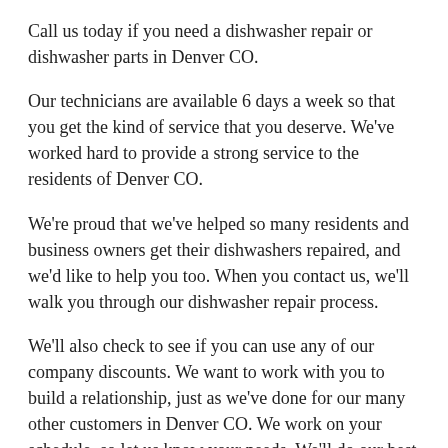Call us today if you need a dishwasher repair or dishwasher parts in Denver CO.
Our technicians are available 6 days a week so that you get the kind of service that you deserve. We've worked hard to provide a strong service to the residents of Denver CO.
We're proud that we've helped so many residents and business owners get their dishwashers repaired, and we'd like to help you too. When you contact us, we'll walk you through our dishwasher repair process.
We'll also check to see if you can use any of our company discounts. We want to work with you to build a relationship, just as we've done for our many other customers in Denver CO. We work on your schedule, so let us know your needs. We'll do our best to make sure that they are completely met.
read more